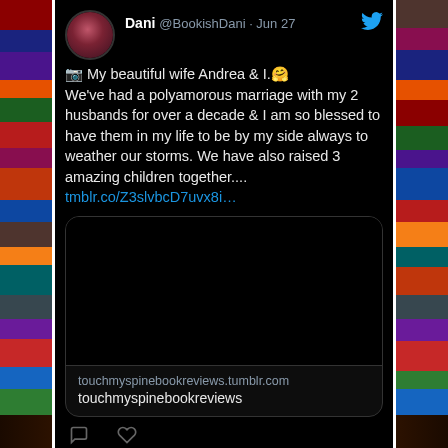[Figure (screenshot): Screenshot of a Twitter/X post by user Dani (@BookishDani) dated Jun 27. The tweet reads: '📷 My beautiful wife Andrea & I.🤗 We've had a polyamorous marriage with my 2 husbands for over a decade & I am so blessed to have them in my life to be by my side always to weather our storms. We have also raised 3 amazing children together.... tmblr.co/Z3slvbcD7uvx8i…'. Below the tweet text is a link card for touchmyspinebookreviews.tumblr.com showing 'touchmyspinebookreviews'. Below the card are comment and like action icons. The background shows bookshelf images on both sides.]